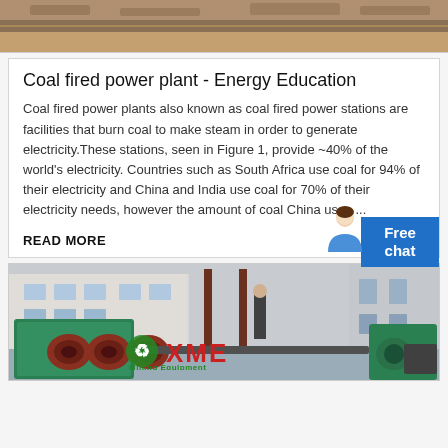[Figure (photo): Top portion of coal power plant or industrial site, rocky/earthy terrain visible]
Coal fired power plant - Energy Education
Coal fired power plants also known as coal fired power stations are facilities that burn coal to make steam in order to generate electricity.These stations, seen in Figure 1, provide ~40% of the world's electricity. Countries such as South Africa use coal for 94% of their electricity and China and India use coal for 70% of their electricity needs, however the amount of coal China uses ...
READ MORE
[Figure (photo): Industrial machinery on factory floor with green XME Mining Equipment branding visible]